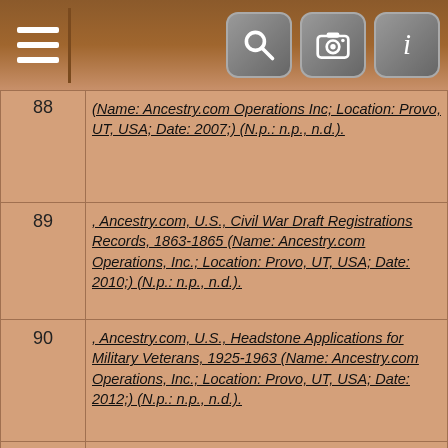Navigation bar with menu, search, camera, and info icons
, Ancestry.com, U.S., Civil War Draft Registrations Records, 1863-1865 (Name: Ancestry.com Operations, Inc.; Location: Provo, UT, USA; Date: 2010;) (N.p.: n.p., n.d.).
, Ancestry.com, U.S., Headstone Applications for Military Veterans, 1925-1963 (Name: Ancestry.com Operations, Inc.; Location: Provo, UT, USA; Date: 2012;) (N.p.: n.p., n.d.).
, Ancestry.com, U.S., New England Marriages Prior to 1700 (Name: Ancestry.com Operations Inc; Location: Provo, UT, USA; Date: 2012;) (N.p.: n.p., n.d.).
, Ancestry.com, U.S., Social Security Death Index, 1935-